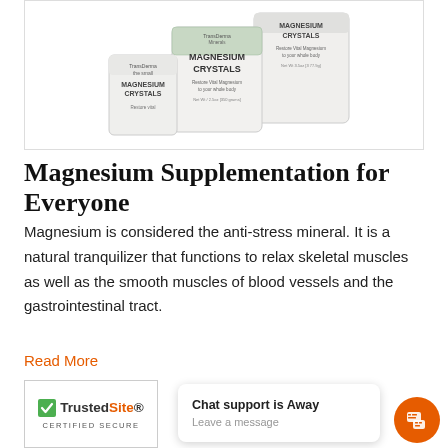[Figure (photo): Three jars/containers of TransDerma Minerals Magnesium Crystals product in different sizes, displayed against a white background]
Magnesium Supplementation for Everyone
Magnesium is considered the anti-stress mineral. It is a natural tranquilizer that functions to relax skeletal muscles as well as the smooth muscles of blood vessels and the gastrointestinal tract.
Read More
[Figure (logo): TrustedSite Certified Secure badge with green checkmark]
Chat support is Away
Leave a message